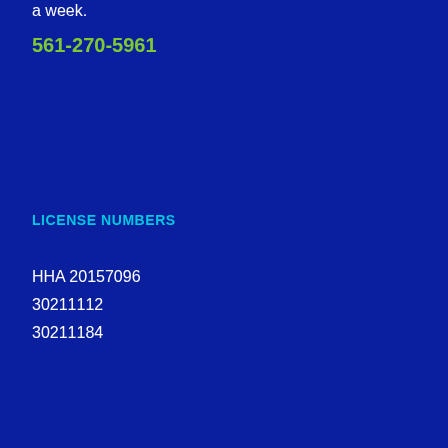a week.
561-270-5961
Broward County
3201 W. Commercial Blvd. #220
Ft. Lauderdale, FL 33309
LICENSE NUMBERS
SOCIAL MEDIA
HHA 20157096
30211112
30211184
[Figure (infographic): Social media icons: Facebook (f), Twitter (bird), Instagram (camera), LinkedIn (in)]